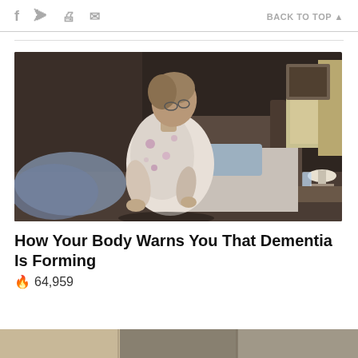f  (twitter)  (print)  (mail)    BACK TO TOP
[Figure (photo): An elderly woman in a floral robe sitting on the edge of a bed, hunched over looking downward, in a bedroom setting with pillows, bedside table with glass of water and lamp, and a framed picture on the wall.]
How Your Body Warns You That Dementia Is Forming
64,959